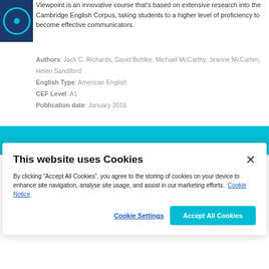[Figure (illustration): Book cover thumbnail with dark blue background and teal circular eye/target graphic]
Viewpoint is an innovative course that's based on extensive research into the Cambridge English Corpus, taking students to a higher level of proficiency to become effective communicators.
Authors: Jack C. Richards, David Bohlke, Michael McCarthy, Jeanne McCarten, Helen Sandiford
English Type: American English
CEF Level: A1
Publication date: January 2016
[Figure (screenshot): Teal/cyan horizontal banner bar]
This website uses Cookies
By clicking “Accept All Cookies”, you agree to the storing of cookies on your device to enhance site navigation, analyse site usage, and assist in our marketing efforts. Cookie Notice
Cookie Settings
Accept All Cookies